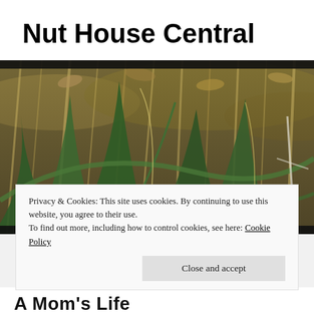Nut House Central
[Figure (photo): Close-up photograph of grass and reeds with blurred background, showing green and golden stalks.]
Privacy & Cookies: This site uses cookies. By continuing to use this website, you agree to their use.
To find out more, including how to control cookies, see here: Cookie Policy
Close and accept
A Mom's Life